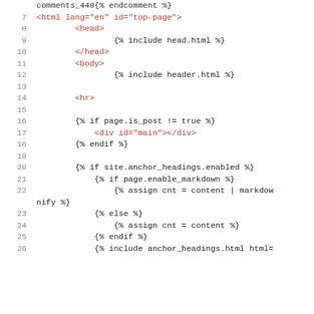[Figure (screenshot): Code snippet showing HTML template with Liquid templating language. Lines 6 through 26 visible. Shows HTML structure with liquid tags including comments, html/head/body tags, conditionals, and includes.]